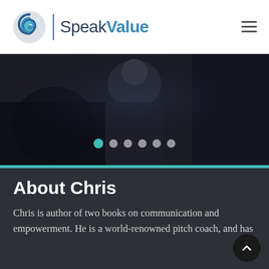[Figure (logo): SpeakValue logo with circular blue swirl icon, vertical divider, and text 'SpeakValue' in dark blue and blue]
[Figure (photo): Dark hero image of a person from behind in a dimly lit setting, with carousel navigation dots overlay]
About Chris
Chris is author of two books on communication and empowerment. He is a world-renowned pitch coach, and has